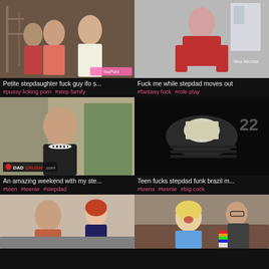[Figure (photo): Thumbnail: two men and a woman in a warehouse/construction setting]
Petite stepdaughter fuck guy ifo s...
#pussy licking porn  #step family
[Figure (photo): Thumbnail: woman in red outfit on floor]
Fuck me while stepdad moves out
#fantasy fuck  #role play
[Figure (photo): Thumbnail: woman in black dress with pearl necklace, DADCRUSH.com watermark]
An amazing weekend with my ste...
#teen  #teenie  #stepdad
[Figure (photo): Thumbnail: dark close-up scene]
Teen fucks stepdad funk brazil m...
#teens  #teenie  #big cock
[Figure (photo): Thumbnail: redhead woman with man]
[Figure (photo): Thumbnail: blonde woman with man on couch]